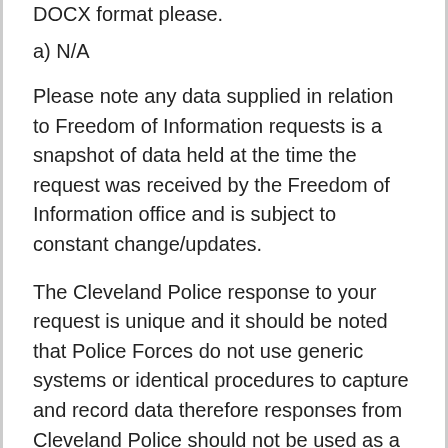DOCX format please.
a) N/A
Please note any data supplied in relation to Freedom of Information requests is a snapshot of data held at the time the request was received by the Freedom of Information office and is subject to constant change/updates.
The Cleveland Police response to your request is unique and it should be noted that Police Forces do not use generic systems or identical procedures to capture and record data therefore responses from Cleveland Police should not be used as a comparison with any other force response you receive.
If you are not satisfied with this response or any actions taken in dealing with your request you have the right to request an independent internal review of your case under our review procedure. The APP College of